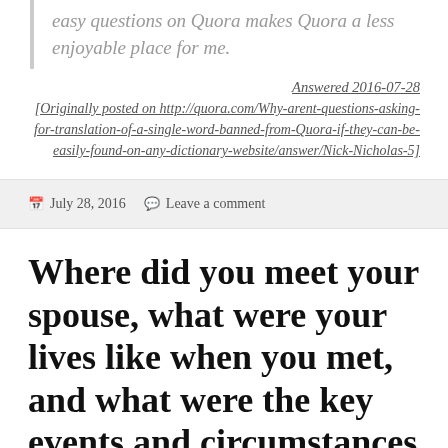easy questions on Quora makes Quora a less enjoyable place for me.
Answered 2016-07-28 [Originally posted on http://quora.com/Why-arent-questions-asking-for-translation-of-a-single-word-banned-from-Quora-if-they-can-be-easily-found-on-any-dictionary-website/answer/Nick-Nicholas-5]
July 28, 2016   Leave a comment
Where did you meet your spouse, what were your lives like when you met, and what were the key events and circumstances that led